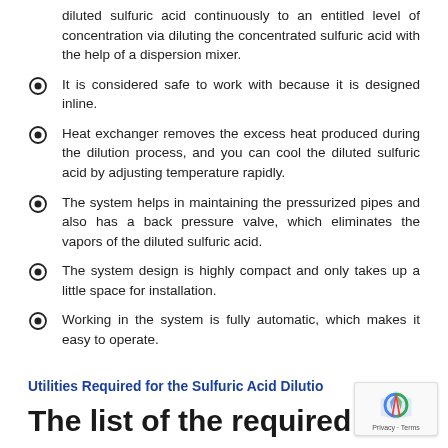diluted sulfuric acid continuously to an entitled level of concentration via diluting the concentrated sulfuric acid with the help of a dispersion mixer.
It is considered safe to work with because it is designed inline.
Heat exchanger removes the excess heat produced during the dilution process, and you can cool the diluted sulfuric acid by adjusting temperature rapidly.
The system helps in maintaining the pressurized pipes and also has a back pressure valve, which eliminates the vapors of the diluted sulfuric acid.
The system design is highly compact and only takes up a little space for installation.
Working in the system is fully automatic, which makes it easy to operate.
Utilities Required for the Sulfuric Acid Dilutio…
The list of the required